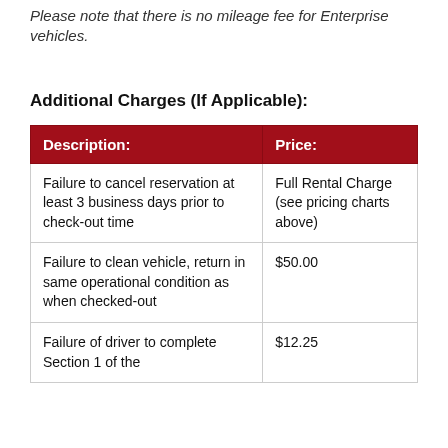Please note that there is no mileage fee for Enterprise vehicles.
Additional Charges (If Applicable):
| Description: | Price: |
| --- | --- |
| Failure to cancel reservation at least 3 business days prior to check-out time | Full Rental Charge (see pricing charts above) |
| Failure to clean vehicle, return in same operational condition as when checked-out | $50.00 |
| Failure of driver to complete Section 1 of the | $12.25 |